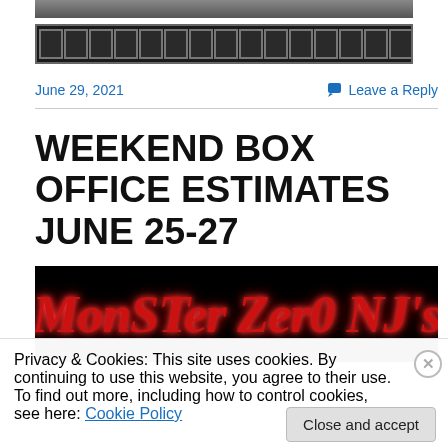[Figure (photo): Top image strip, partial dark image at top of page]
[Figure (illustration): Film strip graphic, black with rectangular holes]
June 29, 2021
Leave a Reply
WEEKEND BOX OFFICE ESTIMATES JUNE 25-27
[Figure (photo): Monster Zero NJ's banner image with stylized red gothic text on black background]
Privacy & Cookies: This site uses cookies. By continuing to use this website, you agree to their use.
To find out more, including how to control cookies, see here: Cookie Policy
Close and accept